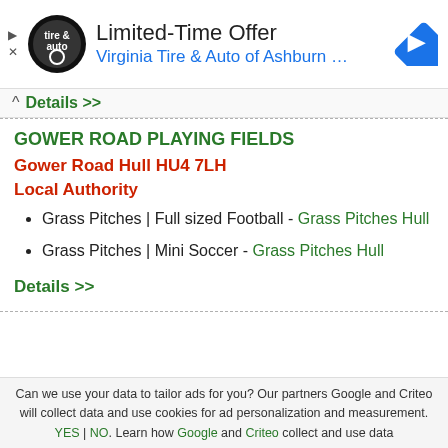[Figure (advertisement): Ad banner for Virginia Tire & Auto of Ashburn with logo, 'Limited-Time Offer' headline, and blue navigation arrow icon]
Details >>
GOWER ROAD PLAYING FIELDS
Gower Road Hull HU4 7LH
Local Authority
Grass Pitches | Full sized Football - Grass Pitches Hull
Grass Pitches | Mini Soccer - Grass Pitches Hull
Details >>
Can we use your data to tailor ads for you? Our partners Google and Criteo will collect data and use cookies for ad personalization and measurement. YES | NO. Learn how Google and Criteo collect and use data